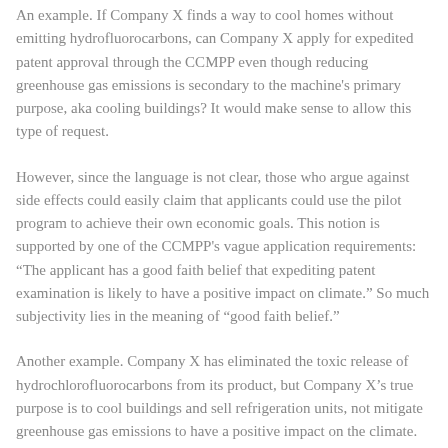An example. If Company X finds a way to cool homes without emitting hydrofluorocarbons, can Company X apply for expedited patent approval through the CCMPP even though reducing greenhouse gas emissions is secondary to the machine's primary purpose, aka cooling buildings? It would make sense to allow this type of request.
However, since the language is not clear, those who argue against side effects could easily claim that applicants could use the pilot program to achieve their own economic goals. This notion is supported by one of the CCMPP's vague application requirements: "The applicant has a good faith belief that expediting patent examination is likely to have a positive impact on climate." So much subjectivity lies in the meaning of "good faith belief."
Another example. Company X has eliminated the toxic release of hydrochlorofluorocarbons from its product, but Company X's true purpose is to cool buildings and sell refrigeration units, not mitigate greenhouse gas emissions to have a positive impact on the climate. The CCMPP could be